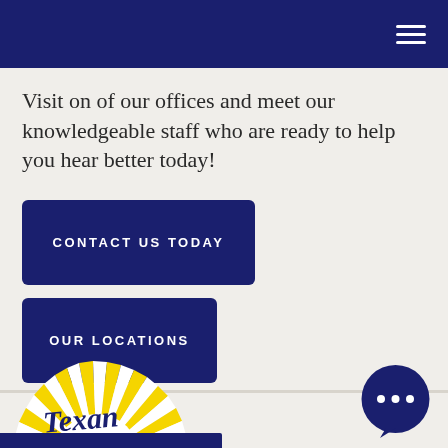Visit on of our offices and meet our knowledgeable staff who are ready to help you hear better today!
CONTACT US TODAY
OUR LOCATIONS
[Figure (logo): Texan Hearing Aid logo with yellow sunburst rays and blue script text reading 'Texan']
[Figure (other): Dark blue circular chat bubble icon with three dots (ellipsis)]